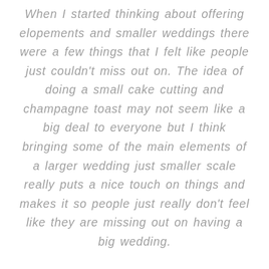When I started thinking about offering elopements and smaller weddings there were a few things that I felt like people just couldn't miss out on. The idea of doing a small cake cutting and champagne toast may not seem like a big deal to everyone but I think bringing some of the main elements of a larger wedding just smaller scale really puts a nice touch on things and makes it so people just really don't feel like they are missing out on having a big wedding.